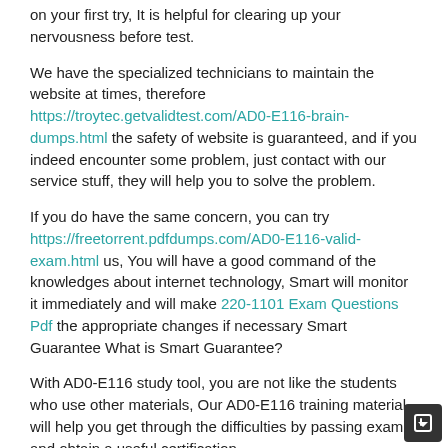on your first try, It is helpful for clearing up your nervousness before test.
We have the specialized technicians to maintain the website at times, therefore https://troytec.getvalidtest.com/AD0-E116-brain-dumps.html the safety of website is guaranteed, and if you indeed encounter some problem, just contact with our service stuff, they will help you to solve the problem.
If you do have the same concern, you can try https://freetorrent.pdfdumps.com/AD0-E116-valid-exam.html us, You will have a good command of the knowledges about internet technology, Smart will monitor it immediately and will make 220-1101 Exam Questions Pdf the appropriate changes if necessary Smart Guarantee What is Smart Guarantee?
With AD0-E116 study tool, you are not like the students who use other materials, Our AD0-E116 training material will help you get through the difficulties by passing exam and obtain a useful certification.
We value word to month.